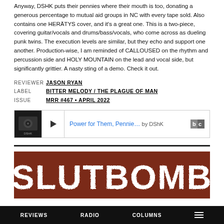Anyway, DSHK puts their pennies where their mouth is too, donating a generous percentage to mutual aid groups in NC with every tape sold. Also contains one HERÄTYS cover, and it's a great one. This is a two-piece, covering guitar/vocals and drums/bass/vocals, who come across as dueling punk twins. The execution levels are similar, but they echo and support one another. Production-wise, I am reminded of CALLOUSED on the rhythm and percussion side and HOLY MOUNTAIN on the lead and vocal side, but significantly grittier. A nasty sting of a demo. Check it out.
| REVIEWER | JASON RYAN |
| LABEL | BITTER MELODY / THE PLAGUE OF MAN |
| ISSUE | MRR #467 • APRIL 2022 |
[Figure (screenshot): Bandcamp music player widget showing 'Power for Them, Pennie... by DShK' with play button and album thumbnail]
[Figure (illustration): SLUTBOMB band logo in white dripping font on a dark red/brown textured background]
REVIEWS   RADIO   COLUMNS   ☰